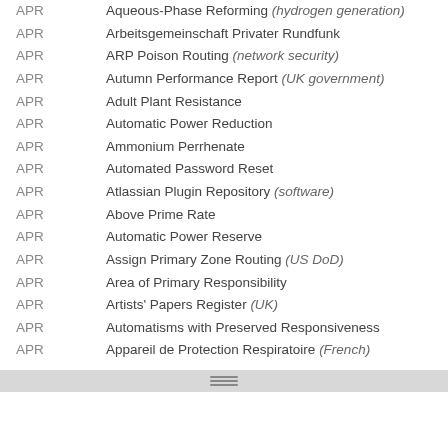APR — Aqueous-Phase Reforming (hydrogen generation)
APR — Arbeitsgemeinschaft Privater Rundfunk
APR — ARP Poison Routing (network security)
APR — Autumn Performance Report (UK government)
APR — Adult Plant Resistance
APR — Automatic Power Reduction
APR — Ammonium Perrhenate
APR — Automated Password Reset
APR — Atlassian Plugin Repository (software)
APR — Above Prime Rate
APR — Automatic Power Reserve
APR — Assign Primary Zone Routing (US DoD)
APR — Area of Primary Responsibility
APR — Artists' Papers Register (UK)
APR — Automatisms with Preserved Responsiveness
APR — Appareil de Protection Respiratoire (French)